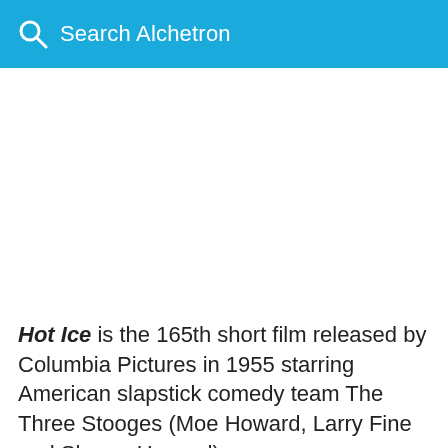Search Alchetron
Hot Ice is the 165th short film released by Columbia Pictures in 1955 starring American slapstick comedy team The Three Stooges (Moe Howard, Larry Fine and Shemp Howard) comedians released 190 short films for the studio